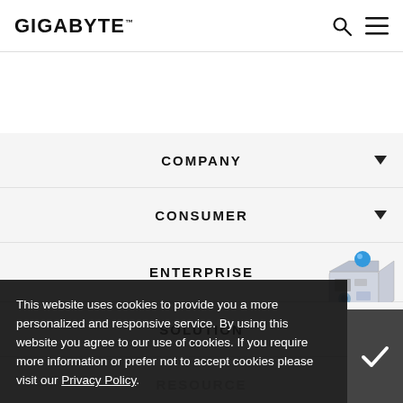GIGABYTE
COMPANY
CONSUMER
ENTERPRISE
[Figure (illustration): 3D isometric industry scene with machinery and industrial equipment, labeled '3D INDUSTRY >']
SOLUTION
RESOURCE
This website uses cookies to provide you a more personalized and responsive service. By using this website you agree to our use of cookies. If you require more information or prefer not to accept cookies please visit our Privacy Policy.